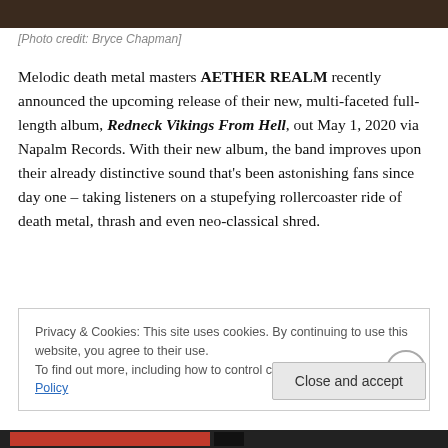[Figure (photo): Dark brown/wood photo bar at top of page]
[Photo credit: Bryce Chapman]
Melodic death metal masters AETHER REALM recently announced the upcoming release of their new, multi-faceted full-length album, Redneck Vikings From Hell, out May 1, 2020 via Napalm Records. With their new album, the band improves upon their already distinctive sound that's been astonishing fans since day one – taking listeners on a stupefying rollercoaster ride of death metal, thrash and even neo-classical shred.
Privacy & Cookies: This site uses cookies. By continuing to use this website, you agree to their use.
To find out more, including how to control cookies, see here: Cookie Policy